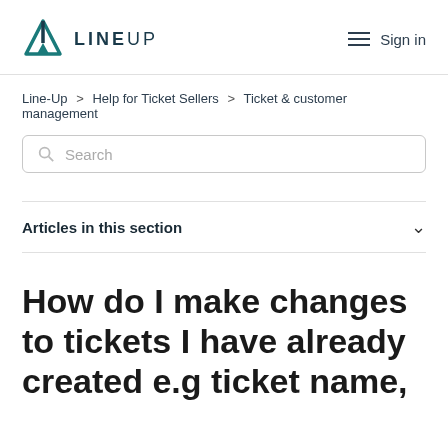LINEUP  Sign in
Line-Up > Help for Ticket Sellers > Ticket & customer management
Search
Articles in this section
How do I make changes to tickets I have already created e.g ticket name,